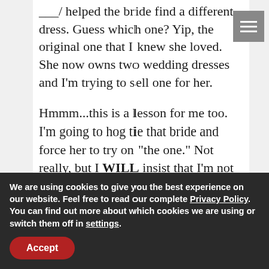helped the bride find a different dress. Guess which one? Yip, the original one that I knew she loved. She now owns two wedding dresses and I'm trying to sell one for her.
Hmmm...this is a lesson for me too. I'm going to hog tie that bride and force her to try on "the one." Not really, but I WILL insist that I'm not taking the order.
We are using cookies to give you the best experience on our website. Feel free to read our complete Privacy Policy. You can find out more about which cookies we are using or switch them off in settings.
Accept